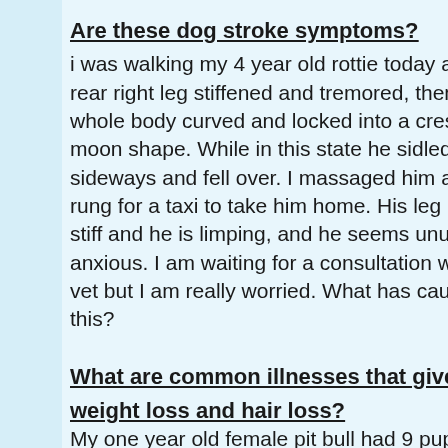Are these dog stroke symptoms?
i was walking my 4 year old rottie today an rear right leg stiffened and tremored, then whole body curved and locked into a cresc moon shape. While in this state he sidled sideways and fell over. I massaged him an rung for a taxi to take him home. His leg is stiff and he is limping, and he seems unus anxious. I am waiting for a consultation wit vet but I am really worried. What has caus this?
What are common illnesses that give dogs weight loss and hair loss?
My one year old female pit bull had 9 pupp on June 13th. Since than she has lost alot weight and her hair has thinned out.